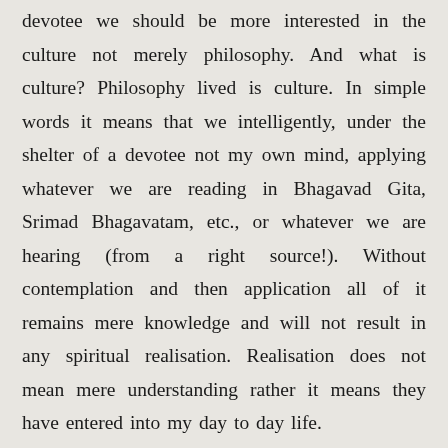devotee we should be more interested in the culture not merely philosophy. And what is culture? Philosophy lived is culture. In simple words it means that we intelligently, under the shelter of a devotee not my own mind, applying whatever we are reading in Bhagavad Gita, Srimad Bhagavatam, etc., or whatever we are hearing (from a right source!). Without contemplation and then application all of it remains mere knowledge and will not result in any spiritual realisation. Realisation does not mean mere understanding rather it means they have entered into my day to day life.
What are the symptoms of change of heart ?